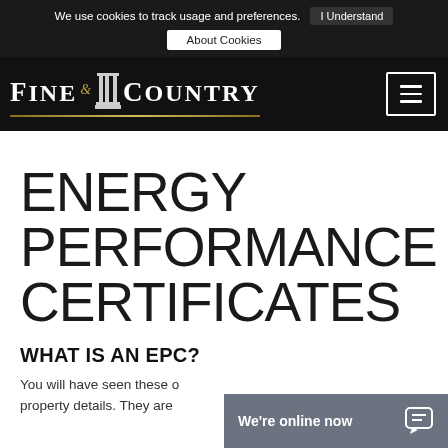We use cookies to track usage and preferences.  I Understand  About Cookies
[Figure (logo): Fine & Country logo with pillar icon on black navigation bar with hamburger menu]
ENERGY PERFORMANCE CERTIFICATES
WHAT IS AN EPC?
You will have seen these on property details. They are
[Figure (screenshot): Chat widget overlay showing 'We're online now' with chat bubble icon on grey background]